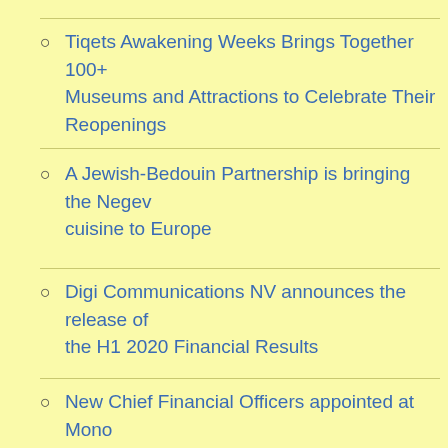Tiqets Awakening Weeks Brings Together 100+ Museums and Attractions to Celebrate Their Reopenings
A Jewish-Bedouin Partnership is bringing the Negev cuisine to Europe
Digi Communications NV announces the release of the H1 2020 Financial Results
New Chief Financial Officers appointed at Mono Solutions & Bauer Media Group SME Services
Digi Communications NV announces Investors Call on the Financial Results for H1 2020